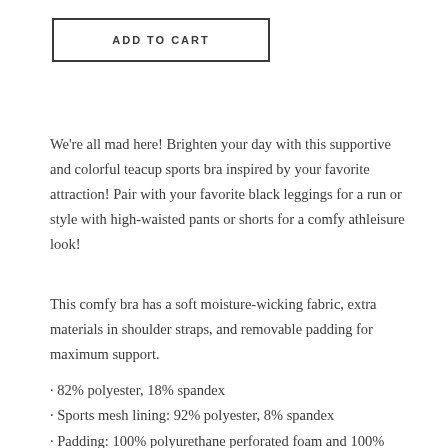ADD TO CART
We're all mad here! Brighten your day with this supportive and colorful teacup sports bra inspired by your favorite attraction! Pair with your favorite black leggings for a run or style with high-waisted pants or shorts for a comfy athleisure look!
This comfy bra has a soft moisture-wicking fabric, extra materials in shoulder straps, and removable padding for maximum support.
· 82% polyester, 18% spandex
· Sports mesh lining: 92% polyester, 8% spandex
· Padding: 100% polyurethane perforated foam and 100% polyester moisture-wicking fabric